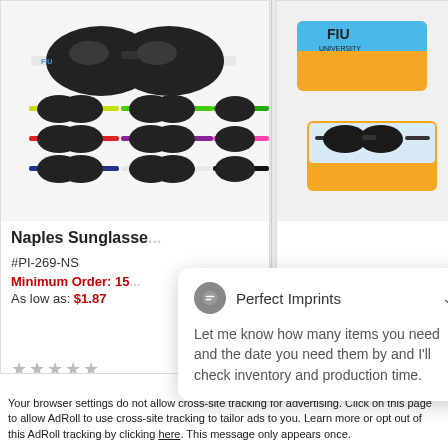[Figure (photo): Naples Sunglasses product image showing multiple colorful sunglasses in a grid: white/black, yellow-green, green, red, purple, pink, navy, white, and black variants]
[Figure (photo): Sunglasses case product image with FIU university logo on orange/blue box and sunglasses inside open case]
Naples Sunglasse...
#PI-269-NS
Minimum Order: 15...
As low as: $1.87
★★★★★ (stars, left product)
★★★★★ (stars, right product)
Perfect Imprints
Let me know how many items you need and the date you need them by and I'll check inventory and production time.
Accept and Close ✕
Your browser settings do not allow cross-site tracking for advertising. Click on this page to allow AdRoll to use cross-site tracking to tailor ads to you. Learn more or opt out of this AdRoll tracking by clicking here. This message only appears once.